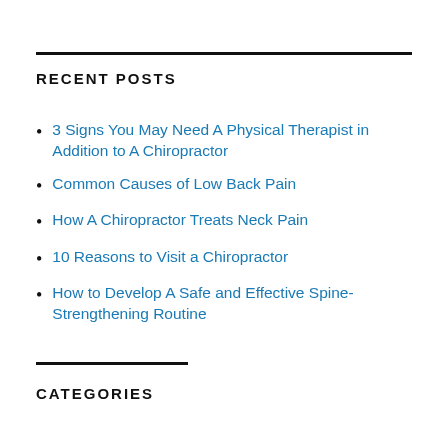RECENT POSTS
3 Signs You May Need A Physical Therapist in Addition to A Chiropractor
Common Causes of Low Back Pain
How A Chiropractor Treats Neck Pain
10 Reasons to Visit a Chiropractor
How to Develop A Safe and Effective Spine-Strengthening Routine
CATEGORIES